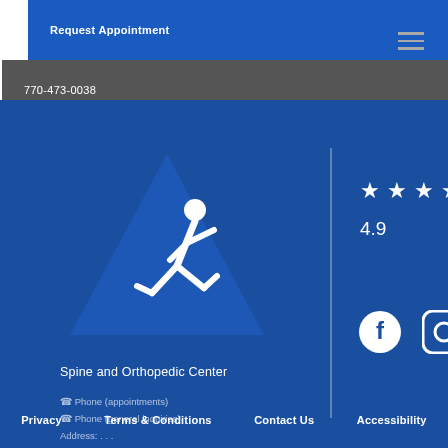Request Appointment | 770-473-0038
[Figure (logo): Spine and Orthopedic Center logo: white triangle with running figure silhouette on blue background]
Spine and Orthopedic Center
☎ Phone (appointments)
☎ Phone (general inquiries)
Address: . . .
[Figure (infographic): Five white stars rating display with rating of 4.9]
[Figure (infographic): Facebook and Instagram social media icons in white circles]
Privacy   Terms & Conditions   Contact Us   Accessibility